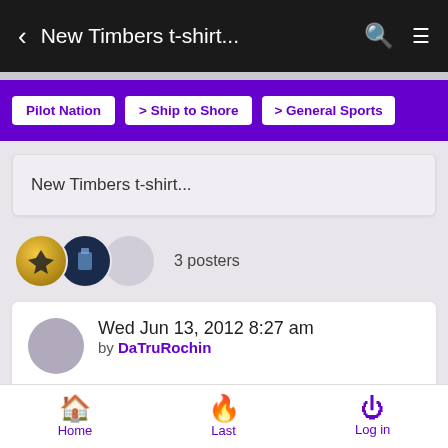< New Timbers t-shirt...
Pilot Nation
> Ship to Shore
> General Sports
New Timbers t-shirt...
3 posters
Wed Jun 13, 2012 8:27 am by DaTruRochin
Ok so I wouldn't be caught dead wearing this shirt, but admittedly it is a great design (Same as the black one Bumpy
Home  Last  Log in